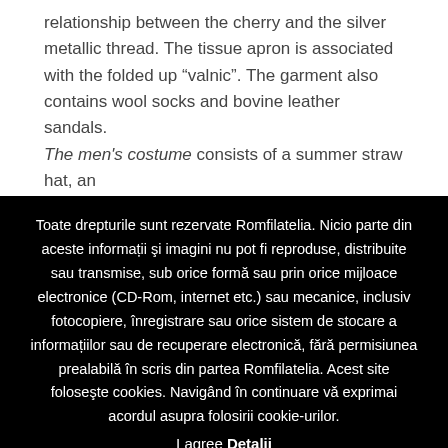relationship between the cherry and the silver metallic thread. The tissue apron is associated with the folded up “valnic”. The garment also contains wool socks and bovine leather sandals.
The men's costume consists of a summer straw hat, an
Toate drepturile sunt rezervate Romfilatelia. Nicio parte din aceste informații şi imagini nu pot fi reproduse, distribuite sau transmise, sub orice formă sau prin orice mijloace electronice (CD-Rom, internet etc.) sau mecanice, inclusiv fotocopiere, înregistrare sau orice sistem de stocare a informațiilor sau de recuperare electronică, fără permisiunea prealabilă în scris din partea Romfilatelia. Acest site foloseşte cookies. Navigând în continuare vă exprimai acordul asupra folosirii cookie-urilor.
I agree Detalii